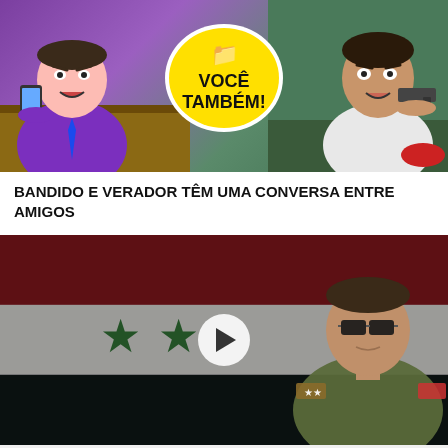[Figure (illustration): Cartoon illustration showing two animated characters on phones with a yellow speech bubble in the center saying 'VOCÊ TAMBÉM!' (You too!) with a folder icon above it. Left character wears a purple suit, right character wears white shirt. Background shows a desk scene on the left and a room scene on the right.]
BANDIDO E VERADOR TÊM UMA CONVERSA ENTRE AMIGOS
[Figure (photo): Video thumbnail showing a man in military uniform and sunglasses against the Syrian flag (red, white, black horizontal stripes with two green stars). A white circular play button is overlaid in the center-left area. The image has a dark, dramatic tone.]